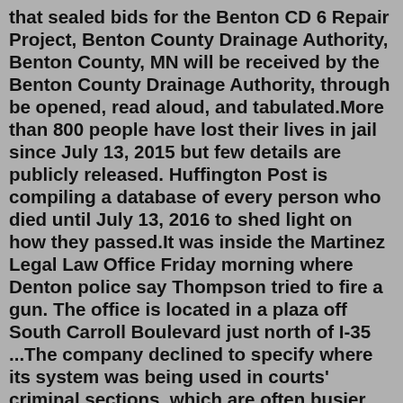that sealed bids for the Benton CD 6 Repair Project, Benton County Drainage Authority, Benton County, MN will be received by the Benton County Drainage Authority, through be opened, read aloud, and tabulated.More than 800 people have lost their lives in jail since July 13, 2015 but few details are publicly released. Huffington Post is compiling a database of every person who died until July 13, 2016 to shed light on how they passed.It was inside the Martinez Legal Law Office Friday morning where Denton police say Thompson tried to fire a gun. The office is located in a plaza off South Carroll Boulevard just north of I-35 ...The company declined to specify where its system was being used in courts' criminal sections, which are often busier than civil courts. Errors in criminal courts are also more serious, as they can result in unwarranted jail time, false arrests and other constitutional violations. The company disputes the allegations in the Tennessee lawsuit ...Jun 21, 2022 · The Church of God Official Site YouTube Official Channel Media Cast New Song 110 Bundang